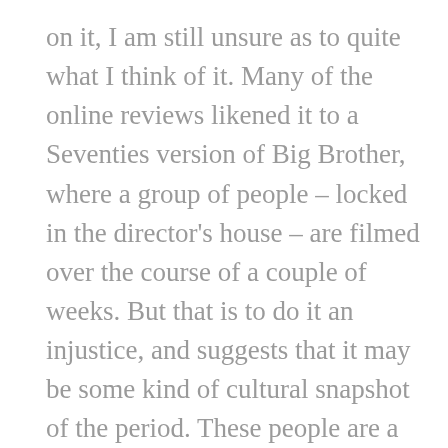on it, I am still unsure as to quite what I think of it. Many of the online reviews likened it to a Seventies version of Big Brother, where a group of people – locked in the director's house – are filmed over the course of a couple of weeks. But that is to do it an injustice, and suggests that it may be some kind of cultural snapshot of the period. These people are a disconcerting mix, chosen without a structure in mind (there are no 'types' that I can clearly identify) and appear to spend most of the time in a druggy haze, having been instructed to act out private fantasies with their fellow housemates.

The actual soundtrack to the action is stripped away and replaced with a discordant,